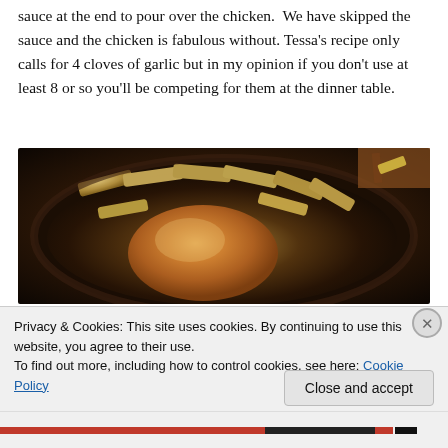sauce at the end to pour over the chicken. We have skipped the sauce and the chicken is fabulous without. Tessa's recipe only calls for 4 cloves of garlic but in my opinion if you don't use at least 8 or so you'll be competing for them at the dinner table.
[Figure (photo): A roasted chicken with potato wedges in a dark oval roasting pan, photographed from above at an angle]
Privacy & Cookies: This site uses cookies. By continuing to use this website, you agree to their use.
To find out more, including how to control cookies, see here: Cookie Policy
Close and accept